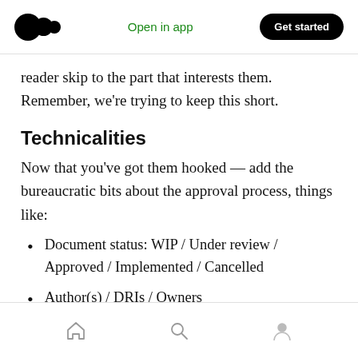Medium app navigation bar with logo, Open in app, Get started
reader skip to the part that interests them. Remember, we're trying to keep this short.
Technicalities
Now that you've got them hooked — add the bureaucratic bits about the approval process, things like:
Document status: WIP / Under review / Approved / Implemented / Cancelled
Author(s) / DRIs / Owners
Bottom navigation bar with home, search, and profile icons